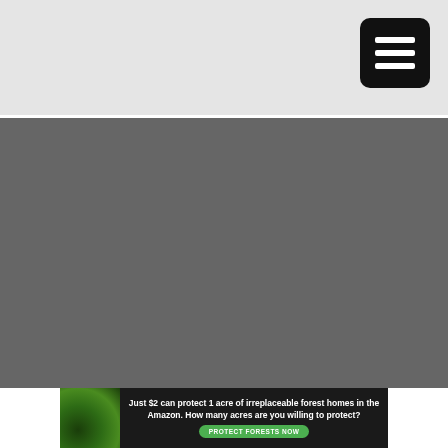[Figure (screenshot): Light grey header bar with a black rounded square menu button (hamburger icon with three white horizontal lines) in the top-right corner]
[Figure (photo): Large dark grey/dark photograph area occupying the middle section of the page]
[Figure (infographic): Advertisement banner with dark background, forest image on left, and text: 'Just $2 can protect 1 acre of irreplaceable forest homes in the Amazon. How many acres are you willing to protect?' with a green 'PROTECT FORESTS NOW' button]